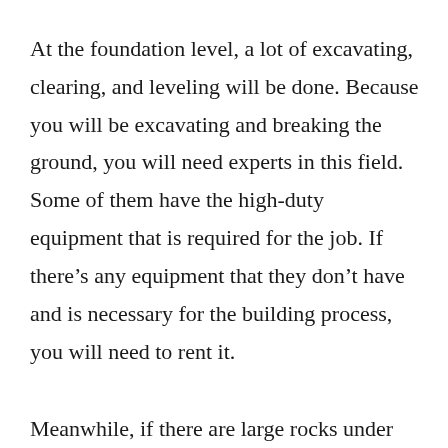At the foundation level, a lot of excavating, clearing, and leveling will be done. Because you will be excavating and breaking the ground, you will need experts in this field. Some of them have the high-duty equipment that is required for the job. If there's any equipment that they don't have and is necessary for the building process, you will need to rent it.
Meanwhile, if there are large rocks under the